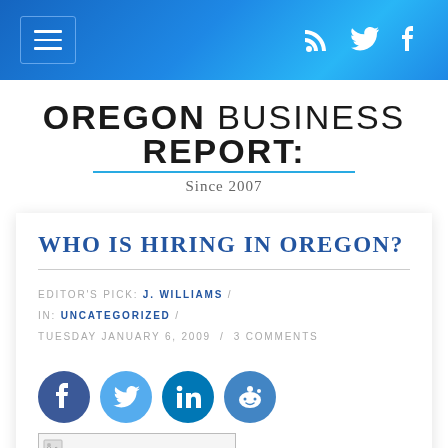Oregon Business Report: Since 2007 — navigation bar with hamburger menu and social icons (RSS, Twitter, Facebook)
OREGON BUSINESS REPORT: Since 2007
WHO IS HIRING IN OREGON?
EDITOR'S PICK: J. WILLIAMS / IN: UNCATEGORIZED / TUESDAY JANUARY 6, 2009 / 3 COMMENTS
[Figure (infographic): Social sharing icons: Facebook, Twitter, LinkedIn, Reddit]
[Figure (photo): Small image placeholder thumbnail]